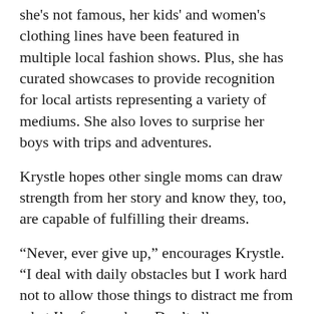she's not famous, her kids' and women's clothing lines have been featured in multiple local fashion shows. Plus, she has curated showcases to provide recognition for local artists representing a variety of mediums. She also loves to surprise her boys with trips and adventures.
Krystle hopes other single moms can draw strength from her story and know they, too, are capable of fulfilling their dreams.
“Never, ever give up,” encourages Krystle. “I deal with daily obstacles but I work hard not to allow those things to distract me from what I’m focused on. Don’t allow your today to affect your tomorrow.”